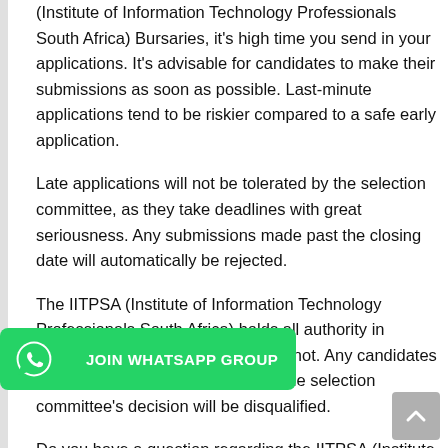(Institute of Information Technology Professionals South Africa) Bursaries, it's high time you send in your applications. It's advisable for candidates to make their submissions as soon as possible. Last-minute applications tend to be riskier compared to a safe early application.
Late applications will not be tolerated by the selection committee, as they take deadlines with great seriousness. Any submissions made past the closing date will automatically be rejected.
The IITPSA (Institute of Information Technology Professionals South Africa) holds all authority in awarding anyone with a bursary or not. Any candidates discovered to be canvassing with the selection committee's decision will be disqualified.
[Figure (other): Green WhatsApp JOIN WHATSAPP GROUP button with WhatsApp icon on left]
Do you have a question regarding the IITPSA (Institute of Information Technology Professionals South Africa...